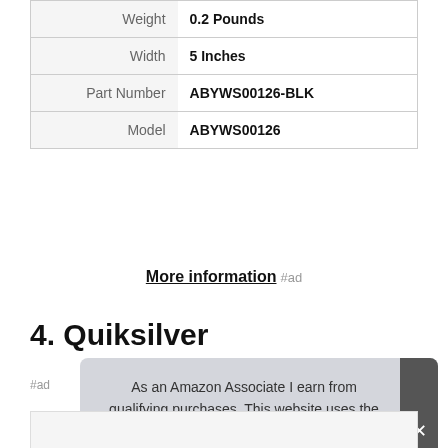| Weight | 0.2 Pounds |
| Width | 5 Inches |
| Part Number | ABYWS00126-BLK |
| Model | ABYWS00126 |
More information #ad
4. Quiksilver
#ad
As an Amazon Associate I earn from qualifying purchases. This website uses the only necessary cookies to ensure you get the best experience on our website. More information